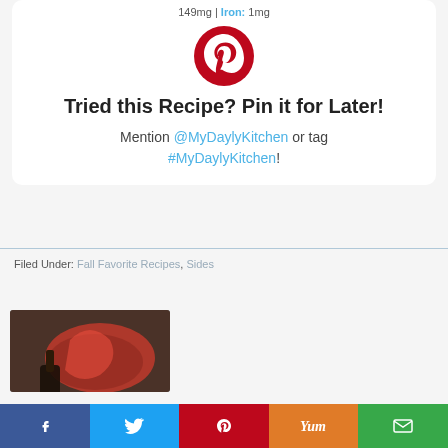149mg | Iron: 1mg
[Figure (logo): Pinterest red circle logo with white P letter]
Tried this Recipe? Pin it for Later!
Mention @MyDaylyKitchen or tag #MyDaylyKitchen!
Filed Under: Fall Favorite Recipes, Sides
[Figure (photo): Close-up photo of roasted red pepper and dark charred vegetable on dark background]
[Figure (infographic): Social share bar with Facebook, Twitter, Pinterest, Yummly, and Email buttons]